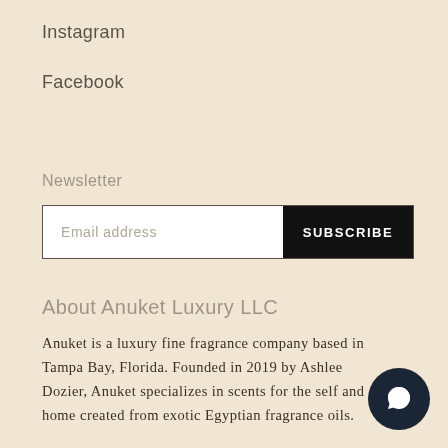Instagram
Facebook
Newsletter
Email address  SUBSCRIBE
About Anuket Luxury LLC
Anuket is a luxury fine fragrance company based in Tampa Bay, Florida. Founded in 2019 by Ashlee Dozier, Anuket specializes in scents for the self and home created from exotic Egyptian fragrance oils.
[Figure (illustration): Dark circular chat bubble icon in the bottom right corner]